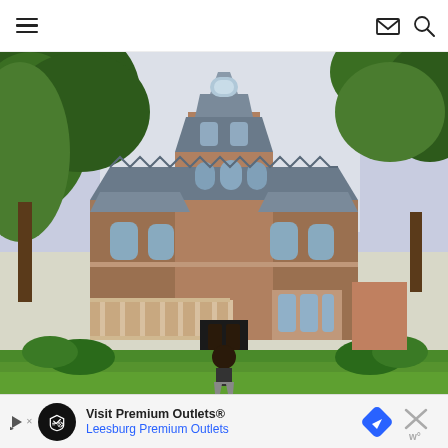Navigation header with hamburger menu, mail icon, and search icon
[Figure (photo): A person photographing a large Victorian-style mansion with red brick facade, mansard roof, decorative tower, arched windows, and front porch, surrounded by large trees and green lawn]
[Figure (infographic): Advertisement banner: Visit Premium Outlets® Leesburg Premium Outlets, with logo circle, navigation arrow icon, close button with W logo]